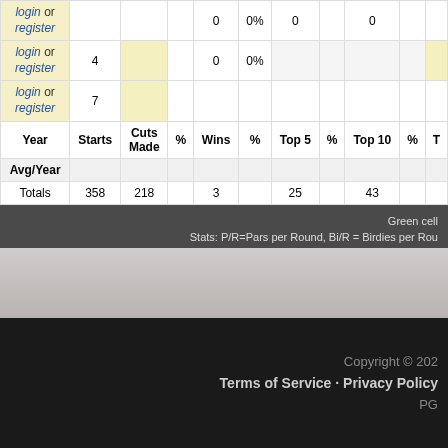| Year | Starts | Cuts Made | % | Wins | % | Top 5 | % | Top 10 | % | T |
| --- | --- | --- | --- | --- | --- | --- | --- | --- | --- | --- |
| login or register |  |  |  | 0 | 0% | 0 |  | 0 |  |  |
| login or register | 4 |  |  | 0 | 0% |  |  |  |  |  |
| login or register | 7 |  |  |  |  |  |  |  |  |  |
| Avg/Year |  |  |  |  |  |  |  |  |  |  |
| Totals | 358 | 218 |  | 3 |  | 25 |  | 43 |  |  |
Green cell... Stats: P/R=Pars per Round, Bi/R = Birdies per Rou...
Copyright © 202... Terms of Service · Privacy Policy PG...